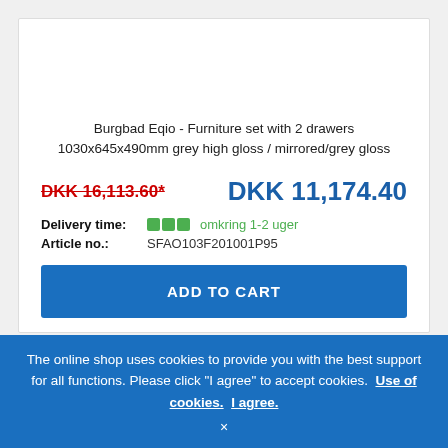Burgbad Eqio - Furniture set with 2 drawers 1030x645x490mm grey high gloss / mirrored/grey gloss
DKK 16,113.60*  DKK 11,174.40
Delivery time: omkring 1-2 uger
Article no.: SFAO103F201001P95
ADD TO CART
-30%
The online shop uses cookies to provide you with the best support for all functions. Please click "I agree" to accept cookies. Use of cookies. I agree.